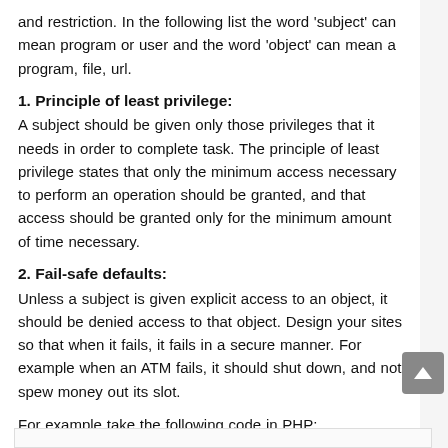and restriction. In the following list the word ‘subject’ can mean program or user and the word ‘object’ can mean a program, file, url.
1. Principle of least privilege:
A subject should be given only those privileges that it needs in order to complete task. The principle of least privilege states that only the minimum access necessary to perform an operation should be granted, and that access should be granted only for the minimum amount of time necessary.
2. Fail-safe defaults:
Unless a subject is given explicit access to an object, it should be denied access to that object. Design your sites so that when it fails, it fails in a secure manner. For example when an ATM fails, it should shut down, and not spew money out its slot.
For example take the following code in PHP: